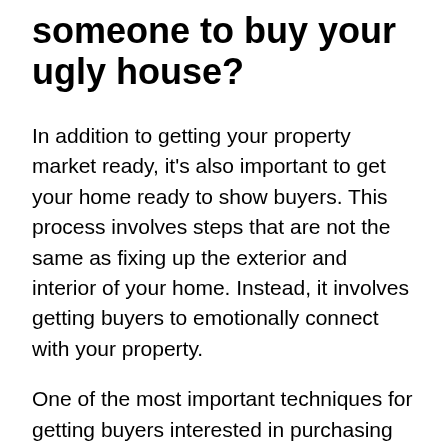someone to buy your ugly house?
In addition to getting your property market ready, it's also important to get your home ready to show buyers. This process involves steps that are not the same as fixing up the exterior and interior of your home. Instead, it involves getting buyers to emotionally connect with your property.
One of the most important techniques for getting buyers interested in purchasing your home is to stage your property. The furniture and decorations in a home for sale impact